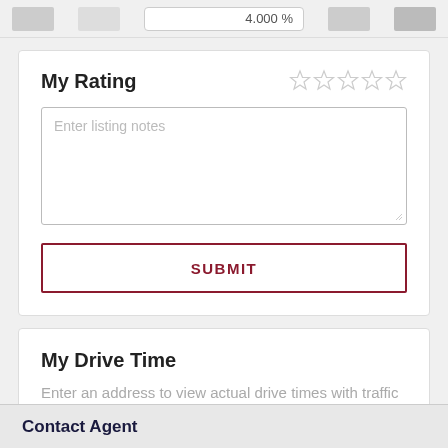[Figure (screenshot): Top navigation bar fragment showing a text input with '4.000 %' value and gray button placeholders]
My Rating
[Figure (other): Five empty star rating icons]
Enter listing notes
SUBMIT
My Drive Time
Enter an address to view actual drive times with traffic from this property
Contact Agent